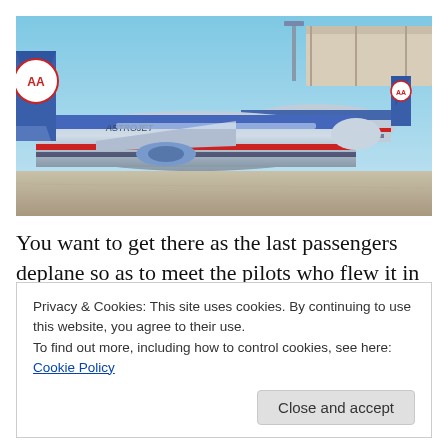[Figure (photo): American Airlines aircraft on airport tarmac. Multiple planes with AA livery (blue, silver with red stripe) parked at gate. One plane has 'ASTROJET' written on its fuselage. Blue sky background with airport infrastructure visible.]
You want to get there as the last passengers deplane so as to meet the pilots who flew it in for a quick, “Good jet” (you do the same when you pass a jet to another crew) or, an explanation of maintenance issues they may have
Privacy & Cookies: This site uses cookies. By continuing to use this website, you agree to their use.
To find out more, including how to control cookies, see here: Cookie Policy